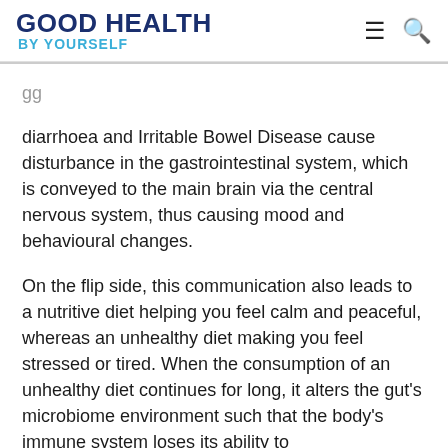GOOD HEALTH by YOURSELF
diarrhoea and Irritable Bowel Disease cause disturbance in the gastrointestinal system, which is conveyed to the main brain via the central nervous system, thus causing mood and behavioural changes.
On the flip side, this communication also leads to a nutritive diet helping you feel calm and peaceful, whereas an unhealthy diet making you feel stressed or tired. When the consumption of an unhealthy diet continues for long, it alters the gut's microbiome environment such that the body's immune system loses its ability to